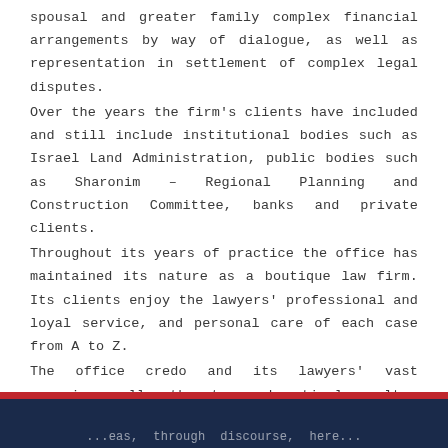spousal and greater family complex financial arrangements by way of dialogue, as well as representation in settlement of complex legal disputes.
Over the years the firm's clients have included and still include institutional bodies such as Israel Land Administration, public bodies such as Sharonim – Regional Planning and Construction Committee, banks and private clients.
Throughout its years of practice the office has maintained its nature as a boutique law firm. Its clients enjoy the lawyers' professional and loyal service, and personal care of each case from A to Z.
The office credo and its lawyers' vast experience allow them to reach optimal results... through discourse, here...
...eas, through discourse, here...